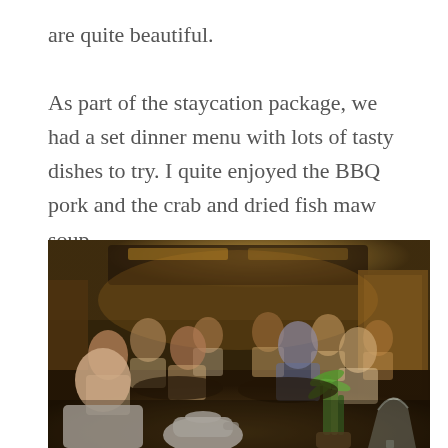are quite beautiful.

As part of the staycation package, we had a set dinner menu with lots of tasty dishes to try. I quite enjoyed the BBQ pork and the crab and dried fish maw soup.
[Figure (photo): A dimly lit Chinese restaurant dining room filled with people seated at round tables. In the foreground are a white teapot and a glass. A small bamboo plant in a vase sits on the table. The background shows more diners and warm amber lighting from the ceiling.]